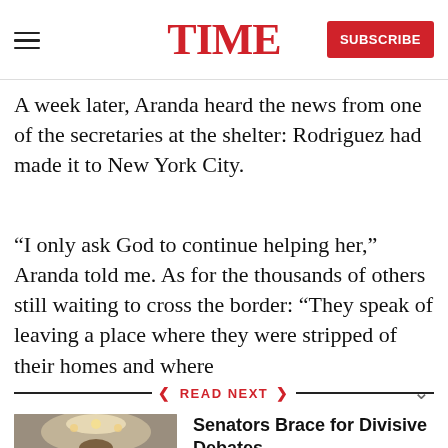TIME
A week later, Aranda heard the news from one of the secretaries at the shelter: Rodriguez had made it to New York City.
“I only ask God to continue helping her,” Aranda told me. As for the thousands of others still waiting to cross the border: “They speak of leaving a place where they were stripped of their homes and where
READ NEXT
Senators Brace for Divisive Debates